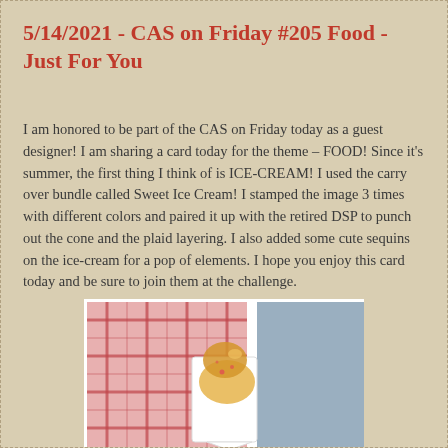5/14/2021 - CAS on Friday #205 Food - Just For You
I am honored to be part of the CAS on Friday today as a guest designer! I am sharing a card today for the theme – FOOD! Since it's summer, the first thing I think of is ICE-CREAM! I used the carry over bundle called Sweet Ice Cream! I stamped the image 3 times with different colors and paired it up with the retired DSP to punch out the cone and the plaid layering. I also added some cute sequins on the ice-cream for a pop of elements. I hope you enjoy this card today and be sure to join them at the challenge.
[Figure (photo): A handmade greeting card with pink plaid patterned paper on the left, a light blue/gray panel on the right, a wooden brown edge on the far left, and an ice cream cone stamped image in yellow/orange tones in the center, with a white die-cut cone base.]